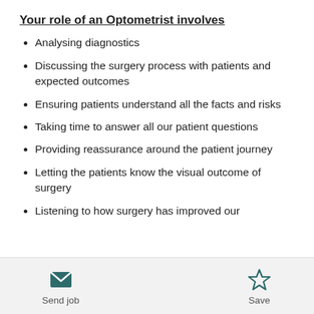Your role of an Optometrist involves
Analysing diagnostics
Discussing the surgery process with patients and expected outcomes
Ensuring patients understand all the facts and risks
Taking time to answer all our patient questions
Providing reassurance around the patient journey
Letting the patients know the visual outcome of surgery
Listening to how surgery has improved our
Send job   Save